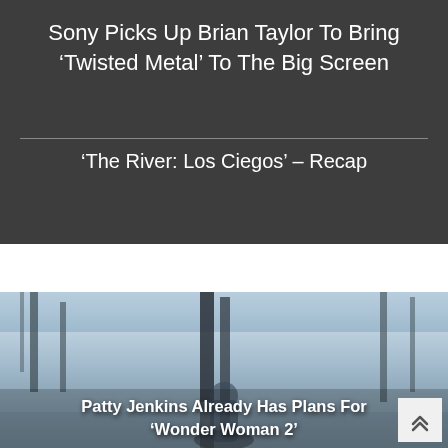Sony Picks Up Brian Taylor To Bring ‘Twisted Metal’ To The Big Screen
‘The River: Los Ciegos’ – Recap
[Figure (photo): A wintry, foggy forest scene with muted blue-grey tones, featuring a person in cold-weather clothing]
Patty Jenkins Already Has Plans For ‘Wonder Woman 2’